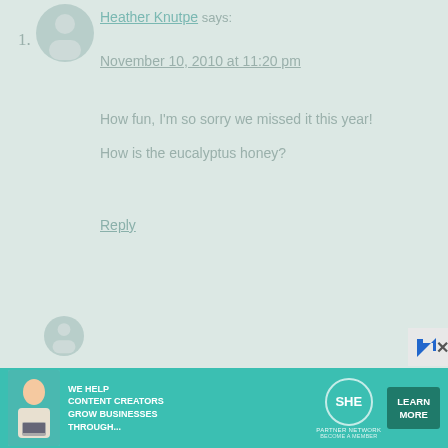[Figure (illustration): User avatar circle icon with person silhouette in grey/teal color]
Heather Knutpe says:
November 10, 2010 at 11:20 pm
How fun, I'm so sorry we missed it this year!
How is the eucalyptus honey?
Reply
[Figure (illustration): Second user avatar circle partially visible at bottom]
[Figure (infographic): SHE Partner Network advertisement banner: WE HELP CONTENT CREATORS GROW BUSINESSES THROUGH... with LEARN MORE button and woman with laptop photo]